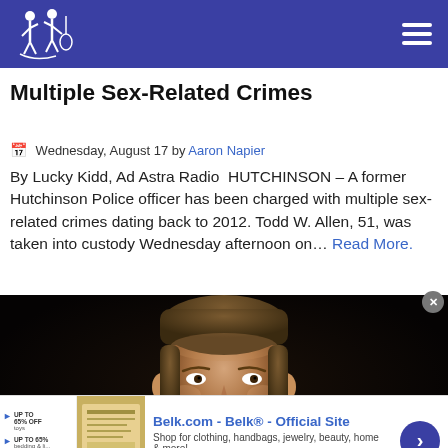Ad Astra Radio - navigation header with logo and hamburger menu
Multiple Sex-Related Crimes
Wednesday, August 17 by Aaron Napier
By Lucky Kidd, Ad Astra Radio  HUTCHINSON – A former Hutchinson Police officer has been charged with multiple sex-related crimes dating back to 2012. Todd W. Allen, 51, was taken into custody Wednesday afternoon on… Read More.
[Figure (photo): Headshot photo of a middle-aged man with a mustache wearing a dark suit, against a dark background.]
[Figure (screenshot): Advertisement banner for Belk.com - Belk® - Official Site. Shop for clothing, handbags, jewelry, beauty, home & more! www.belk.com]